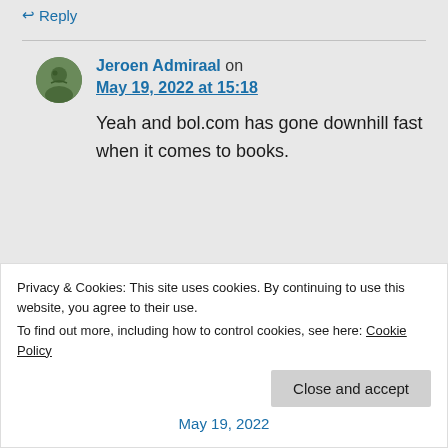↩ Reply
Jeroen Admiraal on May 19, 2022 at 15:18
Yeah and bol.com has gone downhill fast when it comes to books.
Privacy & Cookies: This site uses cookies. By continuing to use this website, you agree to their use.
To find out more, including how to control cookies, see here: Cookie Policy
Close and accept
May 19, 2022